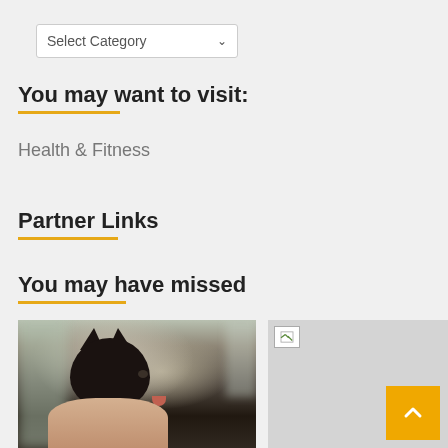[Figure (screenshot): Select Category dropdown widget]
You may want to visit:
Health & Fitness
Partner Links
You may have missed
[Figure (photo): Photo of a small black kitten being held in human hands]
[Figure (photo): Broken/missing image placeholder with orange scroll-to-top button]